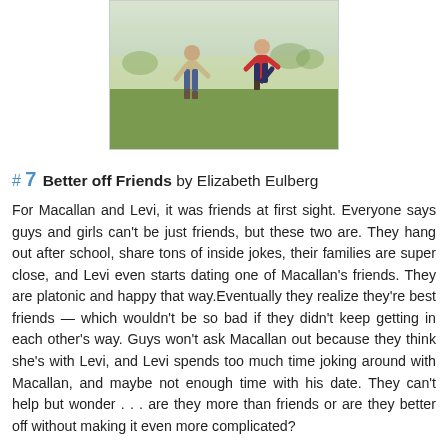[Figure (photo): Two children running outdoors on grass, one wearing beige and one wearing red, photographed from behind]
# 7 Better off Friends by Elizabeth Eulberg
For Macallan and Levi, it was friends at first sight. Everyone says guys and girls can't be just friends, but these two are. They hang out after school, share tons of inside jokes, their families are super close, and Levi even starts dating one of Macallan's friends. They are platonic and happy that way.Eventually they realize they're best friends — which wouldn't be so bad if they didn't keep getting in each other's way. Guys won't ask Macallan out because they think she's with Levi, and Levi spends too much time joking around with Macallan, and maybe not enough time with his date. They can't help but wonder . . . are they more than friends or are they better off without making it even more complicated?
♥ I've read THE LONELY HEARTS CLUB, TAKE A BOW and